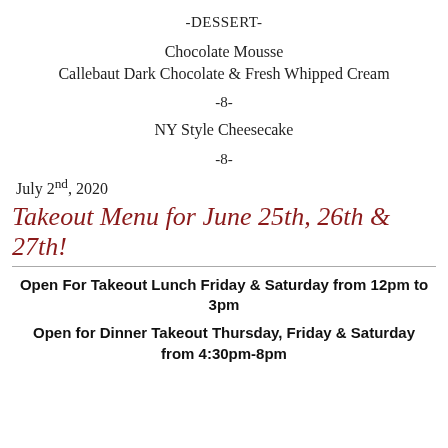-DESSERT-
Chocolate Mousse
Callebaut Dark Chocolate & Fresh Whipped Cream
-8-
NY Style Cheesecake
-8-
July 2nd, 2020
Takeout Menu for June 25th, 26th & 27th!
Open For Takeout Lunch Friday & Saturday from 12pm to 3pm
Open for Dinner Takeout Thursday, Friday & Saturday from 4:30pm-8pm